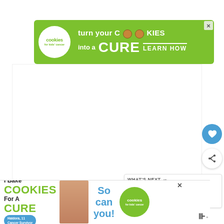[Figure (screenshot): Top advertisement banner for Cookies for Kids Cancer: green background with white circular logo reading 'cookies for kids cancer', text 'turn your COOKIES into a CURE LEARN HOW' with cookie images, and an X close button.]
[Figure (screenshot): White content area (article body, mostly blank/whitespace).]
[Figure (screenshot): Blue circular heart/favorite button (like button with heart icon).]
[Figure (screenshot): White circular share button with share icon.]
[Figure (screenshot): What's Next panel with thumbnail image of Cleveland Ohio skyline and text 'WHAT'S NEXT → Is Cleveland, Ohio Safe? |...']
[Figure (screenshot): Bottom advertisement banner for Cookies for Kids Cancer: 'I Bake COOKIES For A CURE' with Haidora 11 Cancer Survivor pill badge, photo of girl, 'So can you!' text, green Cookies for Kids Cancer logo, and X close button. Volume/mute icon at bottom right.]